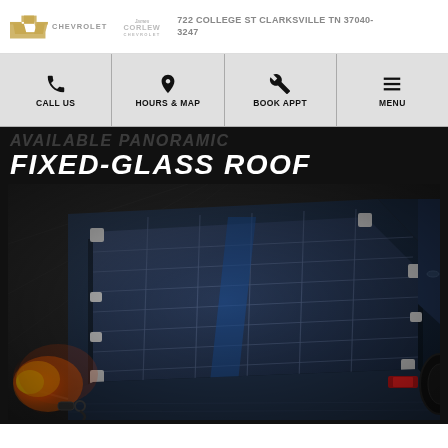CHEVROLET | JAMES CORLEW CHEVROLET | 722 COLLEGE ST CLARKSVILLE TN 37040-3247
CALL US | HOURS & MAP | BOOK APPT | MENU
AVAILABLE PANORAMIC FIXED-GLASS ROOF
[Figure (photo): Aerial view of a blue Chevrolet truck bed with solar panels or a rack system loaded, with flame/light effect on the left side.]